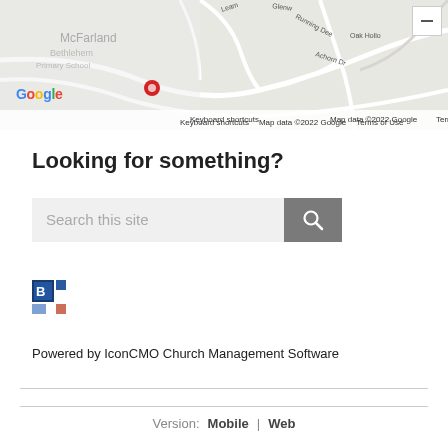[Figure (map): Google Maps screenshot showing McFarland area with road names including Running Deer, Oak Hollow, Leam, Glenwood, Achorn Dr. Shows Google logo, keyboard shortcuts, map data attribution 2022 Google, Terms of Use. Zoom minus control visible top right.]
Looking for something?
[Figure (screenshot): Search bar with placeholder text 'Search this site' and a gray search button with magnifying glass icon]
[Figure (logo): Small blue and white logo icon (partial, cropped)]
Powered by IconCMO Church Management Software
Version: Mobile | Web